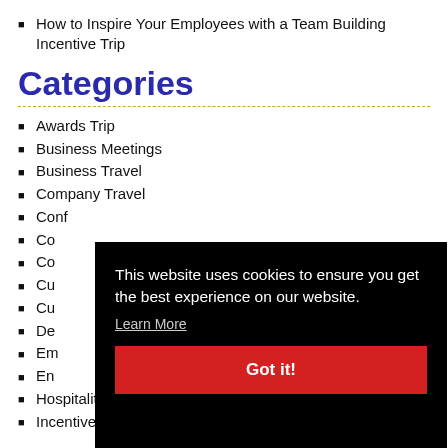How to Inspire Your Employees with a Team Building Incentive Trip
Categories
Awards Trip
Business Meetings
Business Travel
Company Travel
Conf...
Co...
Co...
Cu...
Cu...
De...
Em...
En...
Hospitality Industry
Incentive S...
This website uses cookies to ensure you get the best experience on our website. Learn More. Got it!